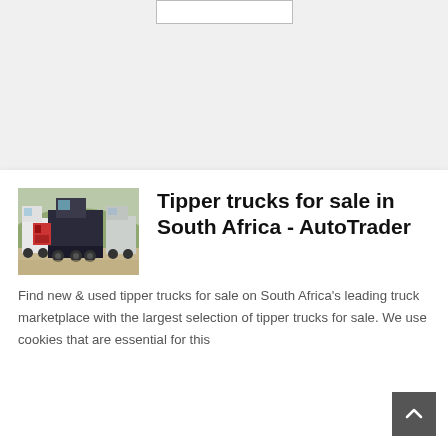[Figure (screenshot): Search box input field at top of page]
[Figure (photo): Tipper trucks parked outdoors, rear view showing dump beds and cab]
Tipper trucks for sale in South Africa - AutoTrader
Find new & used tipper trucks for sale on South Africa's leading truck marketplace with the largest selection of tipper trucks for sale. We use cookies that are essential for this